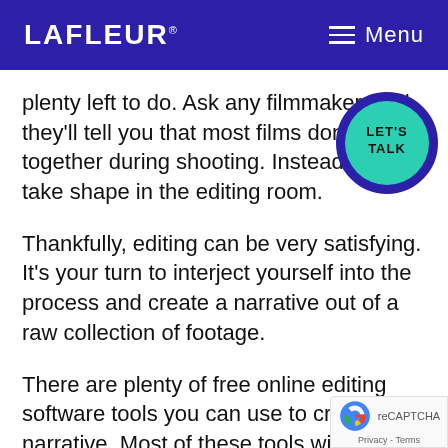LAFLEUR  ≡ Menu
plenty left to do. Ask any filmmaker, and they'll tell you that most films don't come together during shooting. Instead, they take shape in the editing room.
[Figure (other): Circular button with teal fill and blue outline border reading LET'S TALK]
Thankfully, editing can be very satisfying. It's your turn to interject yourself into the process and create a narrative out of a raw collection of footage.
There are plenty of free online editing software tools you can use to craft your narrative. Most of these tools will let you add titles, subtitles, transitions, and even music and sound effects. Most importantly,
[Figure (other): reCAPTCHA badge with Privacy - Terms text]